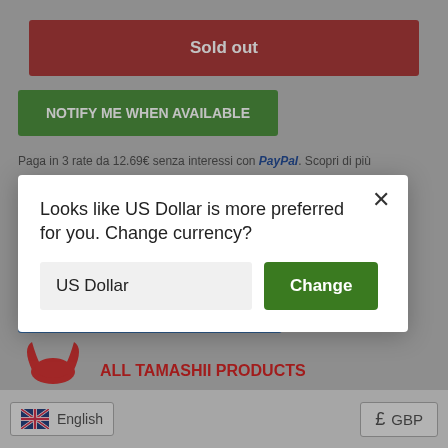Sold out
NOTIFY ME WHEN AVAILABLE
Paga in 3 rate da 12.69€ senza interessi con PayPal. Scopri di più
Looks like US Dollar is more preferred for you. Change currency?
US Dollar
Change
OFFICIAL RESELLER Bandai Tamashii
Order Now, Receive It From 26 August
ALL TAMASHII PRODUCTS
English
GBP